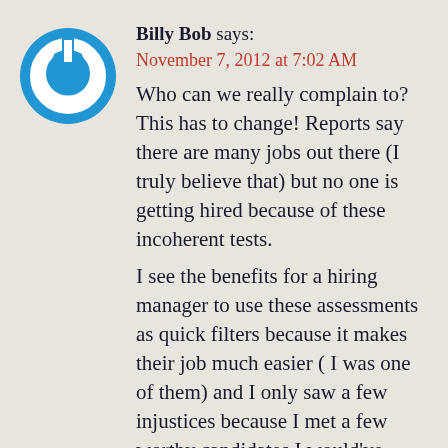[Figure (logo): Blue circular power button icon with white power symbol]
Billy Bob says:
November 7, 2012 at 7:02 AM
Who can we really complain to? This has to change! Reports say there are many jobs out there (I truly believe that) but no one is getting hired because of these incoherent tests.
I see the benefits for a hiring manager to use these assessments as quick filters because it makes their job much easier ( I was one of them) and I only saw a few injustices because I met a few worthy candidates I would've hired on the spot if they hadn't fail the assessment. It was an A, B, C or D scale. D is a no hire. I always did